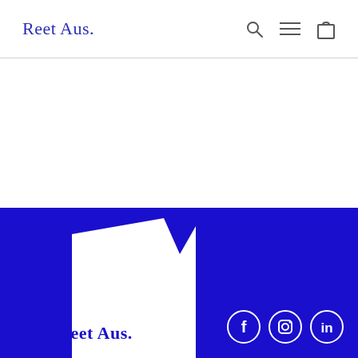Reet Aus.
[Figure (logo): Reet Aus logo with white flag shape on blue footer background, Facebook, Instagram, LinkedIn social icons]
Reet Aus. [Facebook] [Instagram] [LinkedIn]